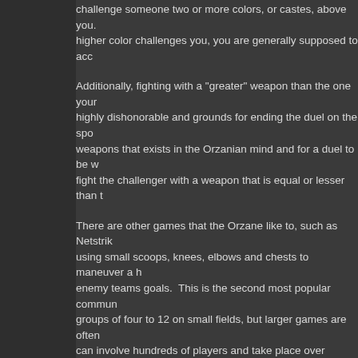challenge someone two or more colors, or castes, above you. higher color challenges you, you are generally supposed to acc
Additionally, fighting with a "greater" weapon than the one your highly dishonorable and grounds for ending the duel on the spo weapons that exists in the Orzanian mind and for a duel to be w fight the challenger with a weapon that is equal or lesser than t
There are other games that the Orzane like to, such as Netstrik using small scoops, knees, elbows and chests to maneuver a h enemy teams goals. This is the second most popular commun groups of four to 12 on small fields, but larger games are often can involve hundreds of players and take place over dozens of incredible affair to witness and participate in, as while scoring g most common way this is done is by fighting the other players a especially prevalent in the larger games, which often more rese events.
The favorite spectator sport of the Orzane is Wizardball, but as able to cast magic, it is generally only played by Wizards and M
Work ways:
To the Orzane, work is something based on class. The High Co do monial labor, but to save their energy for important politi